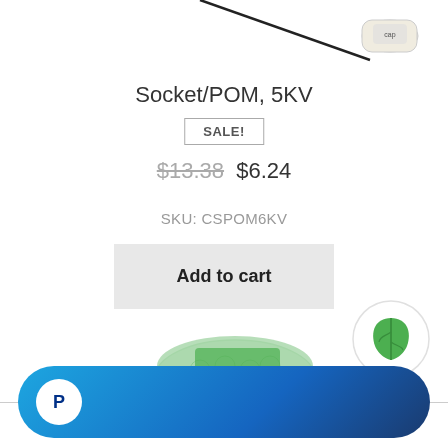[Figure (photo): Product photo: electronic capacitor component with wire leads on white background, partially cropped at top]
Socket/POM, 5KV
SALE!
$13.38  $6.24
SKU: CSPOM6KV
Add to cart
[Figure (photo): Product photo: green packaged item, partially visible at bottom of page]
[Figure (logo): Green eco/leaf badge icon in circular white background]
[Figure (logo): PayPal blue gradient rounded bar button with PayPal P logo icon]